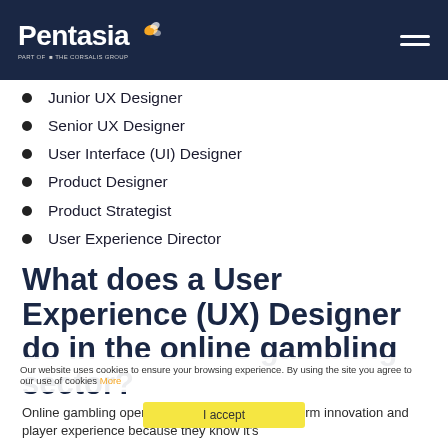Pentasia
Junior UX Designer
Senior UX Designer
User Interface (UI) Designer
Product Designer
Product Strategist
User Experience Director
What does a User Experience (UX) Designer do in the online gambling sector?
Online gambling operators invest heavily in platform innovation and player experience because they know it's